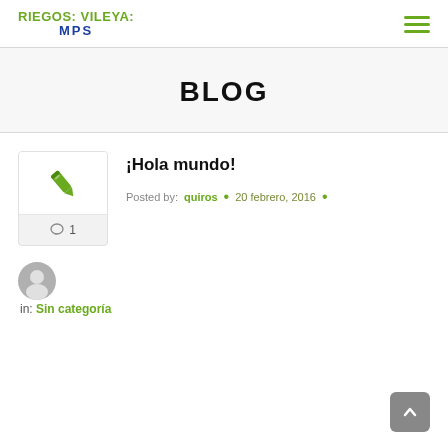Riegos Vileya MPS — logo and navigation
BLOG
¡Hola mundo!
Posted by: quiros • 20 febrero, 2016 •
[Figure (illustration): Blog post thumbnail card with pencil icon and comment count 1]
in: Sin categoría